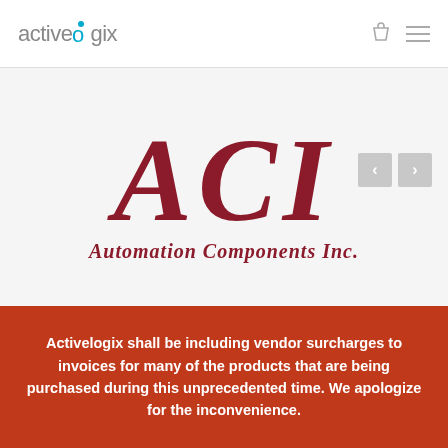activelogix
[Figure (logo): ACI Automation Components Inc. logo with large italic serif letters ACI in dark red and subtitle 'Automation Components Inc.' in italic]
Activelogix shall be including vendor surcharges to invoices for many of the products that are being purchased during this unprecedented time. We apologize for the inconvenience.